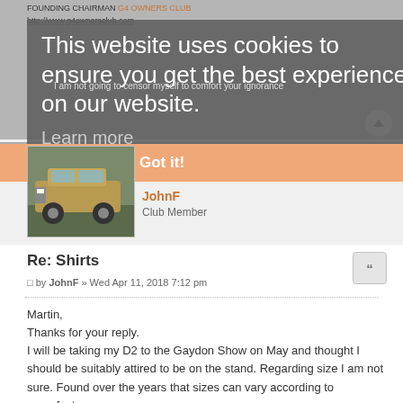FOUNDING CHAIRMAN G4 OWNERS CLUB
http://www.g4ownersclub.com
D3, hot and black
This website uses cookies to ensure you get the best experience on our website
I am not going to censor myself to comfort your ignorance
Learn more
Got it!
[Figure (photo): Photo of a Land Rover Discovery SUV, gold/green color, parked outdoors]
JohnF
Club Member
Re: Shirts
by JohnF » Wed Apr 11, 2018 7:12 pm
Martin,
Thanks for your reply.
I will be taking my D2 to the Gaydon Show on May and thought I should be suitably attired to be on the stand. Regarding size I am not sure. Found over the years that sizes can vary according to manufacturers.